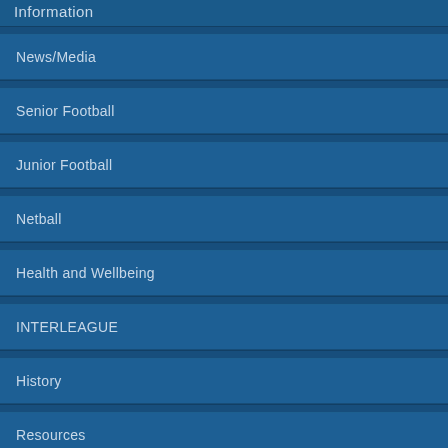Information
News/Media
Senior Football
Junior Football
Netball
Health and Wellbeing
INTERLEAGUE
History
Resources
BENDIGO BANK LOCATOR
Contact Us